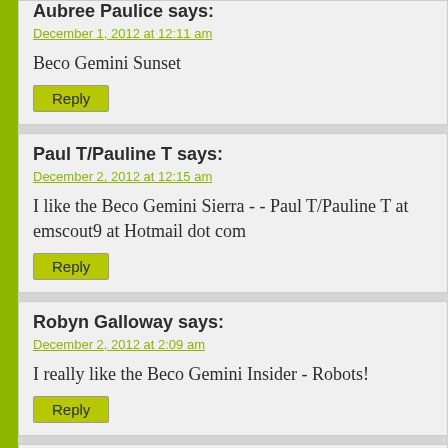Aubree Paulice says:
December 1, 2012 at 12:11 am
Beco Gemini Sunset
Reply
Paul T/Pauline T says:
December 2, 2012 at 12:15 am
I like the Beco Gemini Sierra - - Paul T/Pauline T at emscout9 at Hotmail dot com
Reply
Robyn Galloway says:
December 2, 2012 at 2:09 am
I really like the Beco Gemini Insider - Robots!
Reply